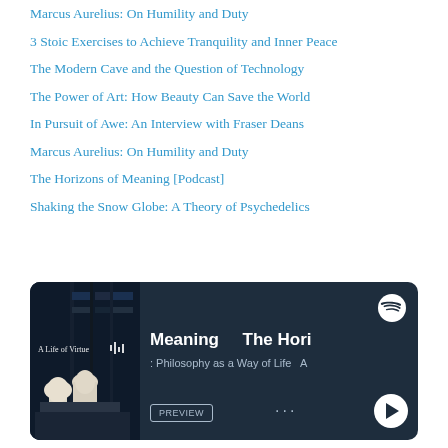Marcus Aurelius: On Humility and Duty
3 Stoic Exercises to Achieve Tranquility and Inner Peace
The Modern Cave and the Question of Technology
The Power of Art: How Beauty Can Save the World
In Pursuit of Awe: An Interview with Fraser Deans
Marcus Aurelius: On Humility and Duty
The Horizons of Meaning [Podcast]
Shaking the Snow Globe: A Theory of Psychedelics
[Figure (screenshot): Spotify podcast widget showing 'A Life of Virtue' album art (bust sculptures in a library), with track titles 'Meaning' and 'The Hori', subtitle 'Philosophy as a Way of Life', a PREVIEW button, ellipsis menu, and play button on a dark navy background.]